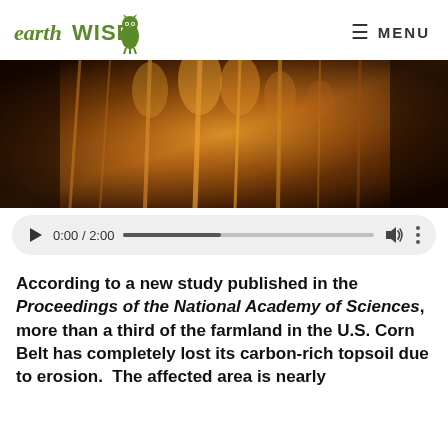earthWISE — MENU
[Figure (photo): Close-up photo of golden/amber dried grain stalks or corn in a field, backlit with warm orange-golden light, dark background]
[Figure (screenshot): Audio/video player control bar showing play button, time display 0:00 / 2:00, progress bar partially filled, volume icon, and three-dot menu]
According to a new study published in the Proceedings of the National Academy of Sciences, more than a third of the farmland in the U.S. Corn Belt has completely lost its carbon-rich topsoil due to erosion.  The affected area is nearly